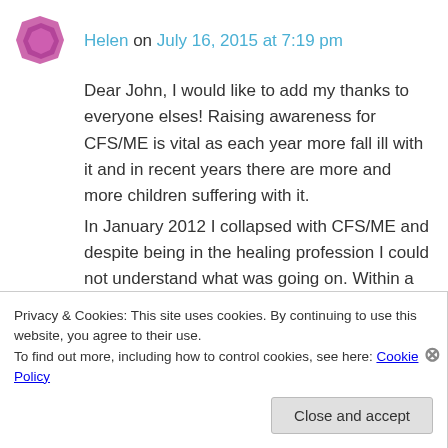Helen on July 16, 2015 at 7:19 pm
Dear John, I would like to add my thanks to everyone elses! Raising awareness for CFS/ME is vital as each year more fall ill with it and in recent years there are more and more children suffering with it. In January 2012 I collapsed with CFS/ME and despite being in the healing profession I could not understand what was going on. Within a few weeks I was completely bedbound, in physical
Privacy & Cookies: This site uses cookies. By continuing to use this website, you agree to their use. To find out more, including how to control cookies, see here: Cookie Policy